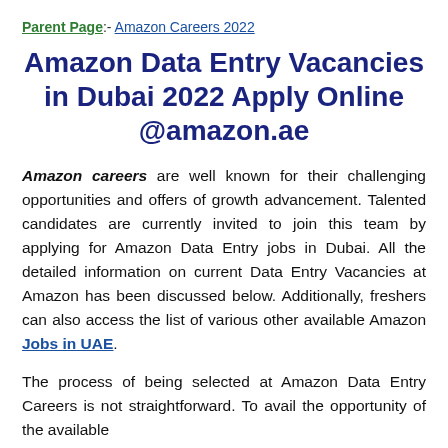Parent Page:- Amazon Careers 2022
Amazon Data Entry Vacancies in Dubai 2022 Apply Online @amazon.ae
Amazon careers are well known for their challenging opportunities and offers of growth advancement. Talented candidates are currently invited to join this team by applying for Amazon Data Entry jobs in Dubai. All the detailed information on current Data Entry Vacancies at Amazon has been discussed below. Additionally, freshers can also access the list of various other available Amazon Jobs in UAE.
The process of being selected at Amazon Data Entry Careers is not straightforward. To avail the opportunity of the available